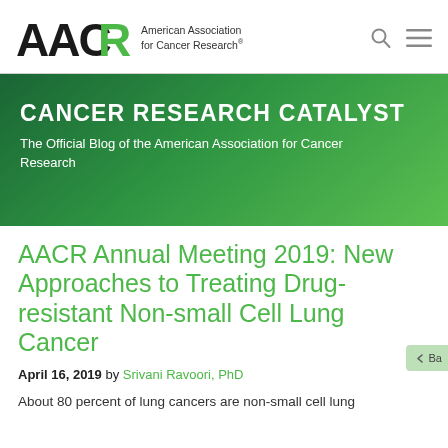AACR — American Association for Cancer Research
[Figure (logo): AACR logo with green R and black AAC letters, followed by text 'American Association for Cancer Research']
CANCER RESEARCH CATALYST
The Official Blog of the American Association for Cancer Research
AACR Annual Meeting 2019: New Approaches to Treating Drug-resistant Non-small Cell Lung Cancer
April 16, 2019 by Srivani Ravoori, PhD
About 80 percent of lung cancers are non-small cell lung